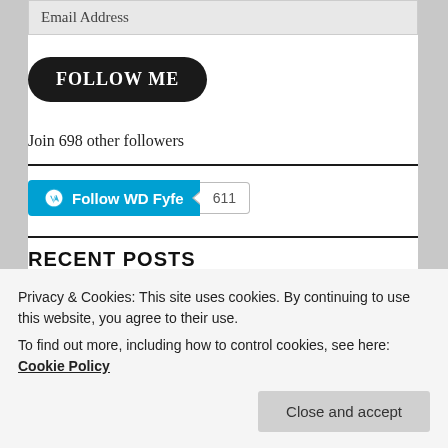Email Address
[Figure (other): Black rounded rectangle button with white bold text FOLLOW ME]
Join 698 other followers
[Figure (other): WordPress Follow WD Fyfe button (blue) with follower count 611]
RECENT POSTS
Privacy & Cookies: This site uses cookies. By continuing to use this website, you agree to their use.
To find out more, including how to control cookies, see here: Cookie Policy
Close and accept